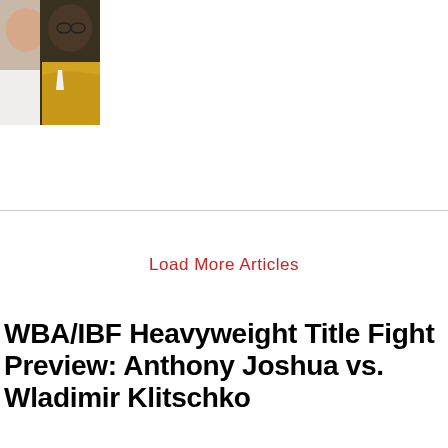[Figure (photo): Two people facing each other in a close-up photo; one appears to be wearing a yellow hoodie, the other a white top]
Load More Articles
WBA/IBF Heavyweight Title Fight Preview: Anthony Joshua vs. Wladimir Klitschko